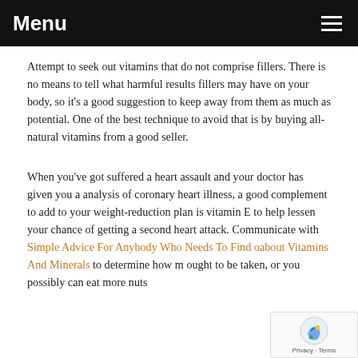Menu
Attempt to seek out vitamins that do not comprise fillers. There is no means to tell what harmful results fillers may have on your body, so it's a good suggestion to keep away from them as much as potential. One of the best technique to avoid that is by buying all-natural vitamins from a good seller.
When you've got suffered a heart assault and your doctor has given you a analysis of coronary heart illness, a good complement to add to your weight-reduction plan is vitamin E to help lessen your chance of getting a second heart attack. Communicate with Simple Advice For Anybody Who Needs To Find about Vitamins And Minerals to determine how m ought to be taken, or you possibly can eat more nuts